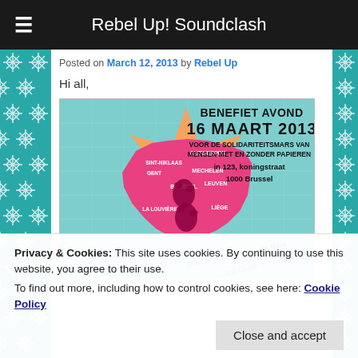Rebel Up! Soundclash
Posted on March 12, 2013 by Rebel Up
Hi all,
[Figure (illustration): Event flyer for Benefiet Avond 16 Maart 2013 voor de solidariteitsmars van mensen met en zonder papieren in 123, koningstraat 1000 Brussel. Features a pink map of Belgium on an orange star background with teal city map pattern. Text includes city names: Antwerpen, Sint-Niklaas, Gent, Mechelen, Leuven, Brussel, La Louvière, Liège. Boot prints on the map. Program details: 20u Voorstelling van de Mars, 23u30 DJ's Rebel Up.]
Privacy & Cookies: This site uses cookies. By continuing to use this website, you agree to their use. To find out more, including how to control cookies, see here: Cookie Policy
Close and accept